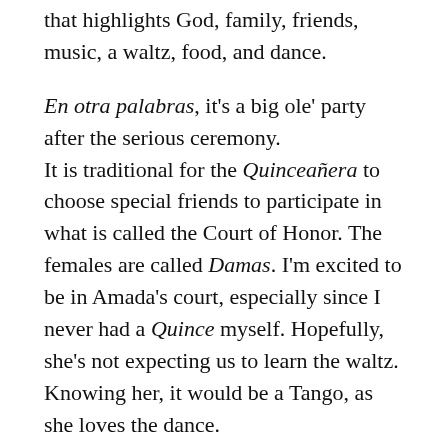that highlights God, family, friends, music, a waltz, food, and dance.
En otra palabras, it's a big ole' party after the serious ceremony.
It is traditional for the Quinceañera to choose special friends to participate in what is called the Court of Honor. The females are called Damas. I'm excited to be in Amada's court, especially since I never had a Quince myself. Hopefully, she's not expecting us to learn the waltz. Knowing her, it would be a Tango, as she loves the dance.
The fun has already begun, with one of the damas posting her Quince dress online. A comment said it reminded her of the Portuguese Man O'War.